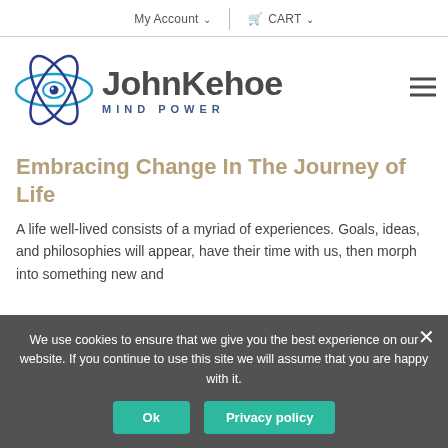My Account   CART
[Figure (logo): JohnKehoe Mind Power logo with atom/eye icon in blue and navy, and text 'JohnKehoe' in dark gray bold with 'MIND POWER' in spaced navy below]
Embracing Change In The Journey of Life
A life well-lived consists of a myriad of experiences. Goals, ideas, and philosophies will appear, have their time with us, then morph into something new and...
We use cookies to ensure that we give you the best experience on our website. If you continue to use this site we will assume that you are happy with it.